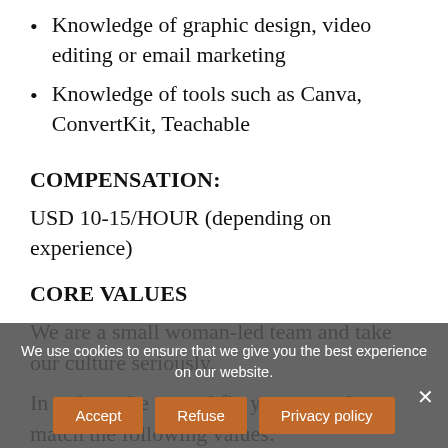Knowledge of graphic design, video editing or email marketing
Knowledge of tools such as Canva, ConvertKit, Teachable
COMPENSATION:
USD 10-15/HOUR (depending on experience)
CORE VALUES
We are a small woman-led team and take our culture seriously.
In order to be a good fit, you must also match the following values:
We use cookies to ensure that we give you the best experience on our website.